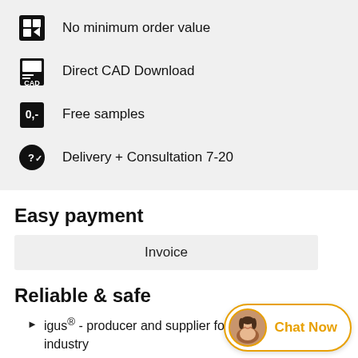No minimum order value
Direct CAD Download
Free samples
Delivery + Consultation 7-20
Easy payment
Invoice
Reliable & safe
igus® - producer and supplier for all branches of industry
The igus® promise of quality
Consultation
+44(0)1604 677240
Chat Now